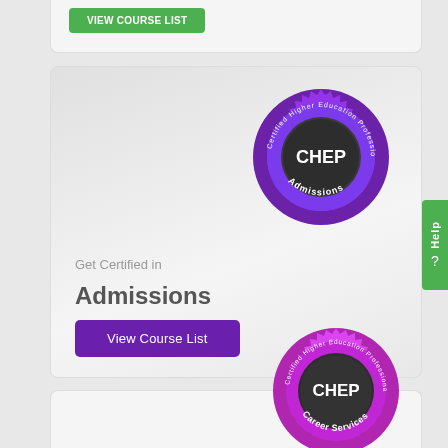[Figure (other): Partial card with green View Course List button at top]
[Figure (logo): CHEP Admissions badge - Certified Higher Education Professional circular purple badge with dark center and CHEP text]
Get Certified in
Admissions
View Course List
[Figure (logo): CHEP Career Services badge - Certified Higher Education Professional circular pink/purple badge with dark center and CHEP text]